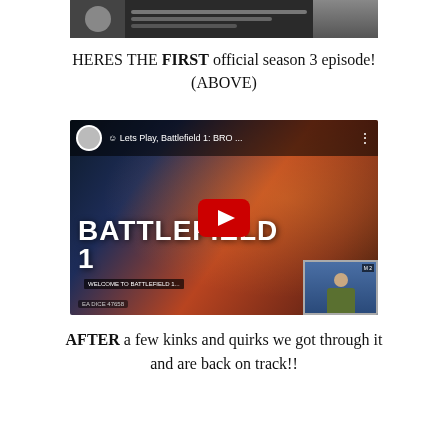[Figure (screenshot): Partial screenshot of a video game or stream at top of page]
HERES THE FIRST official season 3 episode! (ABOVE)
[Figure (screenshot): YouTube video thumbnail for 'Lets Play, Battlefield 1: BRO...' showing Battlefield 1 game art with play button and a picture-in-picture webcam of a person with headset]
AFTER a few kinks and quirks we got through it and are back on track!!